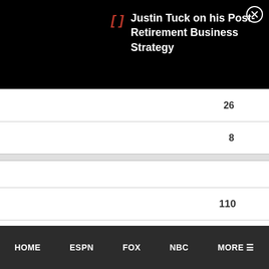Justin Tuck on his Post-Retirement Business Strategy
|  | 26 |
|  | 8 |
|  |  |
|  | 110 |
|  | CYCLYSM |
|  | Sun 10/11/15 |
HOME   ESPN   FOX   NBC   MORE